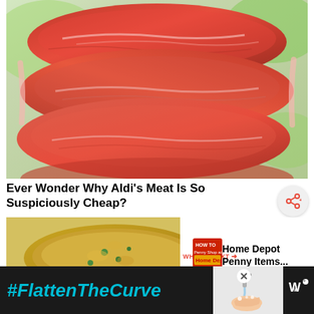[Figure (photo): Stack of raw red beef/meat slices piled on top of each other, close-up food photography with green blurred background]
Ever Wonder Why Aldi's Meat Is So Suspiciously Cheap?
[Figure (photo): Food dish photo (appears to be a breaded/fried food item) with 'WHAT'S NEXT' panel showing thumbnail and text 'Home Depot Penny Items...']
WHAT'S NEXT → Home Depot Penny Items...
[Figure (photo): Advertisement banner with text '#FlattenTheCurve' on dark background and an image of person washing hands at sink, with weather channel logo]